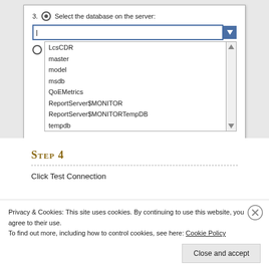[Figure (screenshot): UI dialog showing step 3 - Select the database on the server, with a dropdown input and a list box containing database names: LcsCDR, master, model, msdb, QoEMetrics, ReportServer$MONITOR, ReportServer$MONITORTempDB, tempdb]
Step 4
Click Test Connection
Privacy & Cookies: This site uses cookies. By continuing to use this website, you agree to their use.
To find out more, including how to control cookies, see here: Cookie Policy
Close and accept